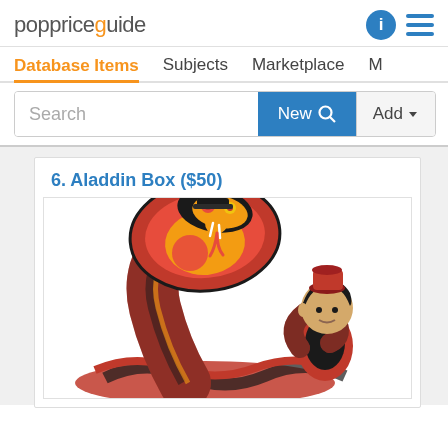poppriceguide
Database Items  Subjects  Marketplace  M
Search  New  Add
6. Aladdin Box ($50)
[Figure (photo): Funko Pop vinyl figure of Aladdin being confronted by Jafar transformed as a large cobra snake, in black, red, and yellow colors]